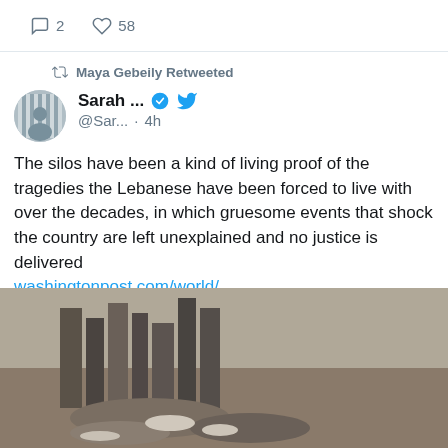2  58
Maya Gebeily Retweeted
Sarah ... @Sar... · 4h
The silos have been a kind of living proof of the tragedies the Lebanese have been forced to live with over the decades, in which gruesome events that shock the country are left unexplained and no justice is delivered washingtonpost.com/world/2022/08/…
[Figure (photo): Aerial photo of destroyed grain silos, debris and destruction visible]